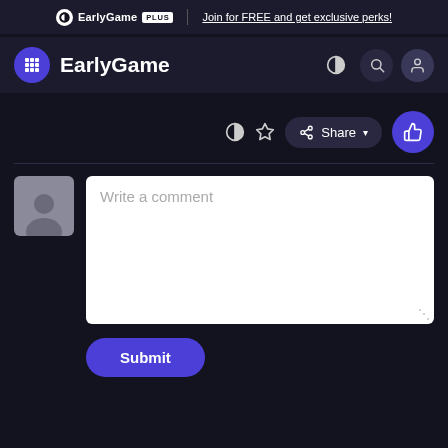EarlyGame PLUS | Join for FREE and get exclusive perks!
[Figure (screenshot): EarlyGame website navbar with logo, grid menu button, contrast toggle, search icon, and user profile icon]
[Figure (screenshot): Article action bar with contrast toggle, star/bookmark, Share dropdown button, and thumbs-up like button]
[Figure (screenshot): Comment section with anonymous user avatar, Write a comment textarea, and Submit button]